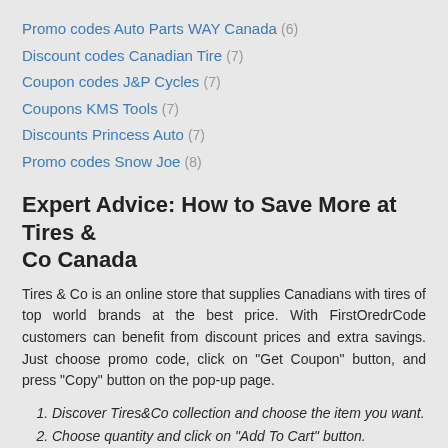Promo codes Auto Parts WAY Canada (6)
Discount codes Canadian Tire (7)
Coupon codes J&P Cycles (7)
Coupons KMS Tools (7)
Discounts Princess Auto (7)
Promo codes Snow Joe (8)
Expert Advice: How to Save More at Tires & Co Canada
Tires & Co is an online store that supplies Canadians with tires of top world brands at the best price. With FirstOredrCode customers can benefit from discount prices and extra savings. Just choose promo code, click on "Get Coupon" button, and press "Copy" button on the pop-up page.
Discover Tires&Co collection and choose the item you want.
Choose quantity and click on "Add To Cart" button.
On the next page click on "View Your Cart" button.